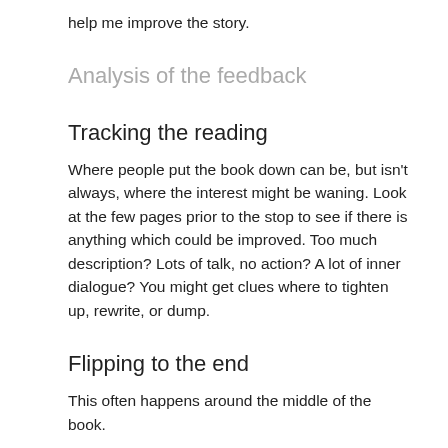help me improve the story.
Analysis of the feedback
Tracking the reading
Where people put the book down can be, but isn't always, where the interest might be waning. Look at the few pages prior to the stop to see if there is anything which could be improved. Too much description? Lots of talk, no action? A lot of inner dialogue? You might get clues where to tighten up, rewrite, or dump.
Flipping to the end
This often happens around the middle of the book.